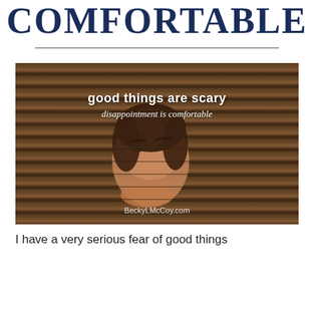COMFORTABLE
[Figure (photo): A person peering through venetian blinds with overlaid text reading 'good things are scary / disappointment is comfortable' and 'BeckyLMcCoy.com']
I have a very serious fear of good things